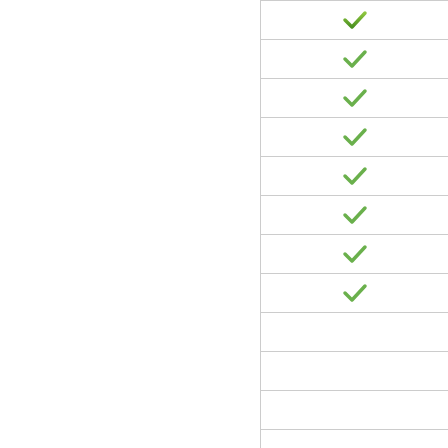[Figure (other): A two-column layout showing a right column with green checkmarks in rows separated by horizontal lines. The left panel is blank white. The right column contains 8 rows with green checkmarks followed by 4 empty rows.]